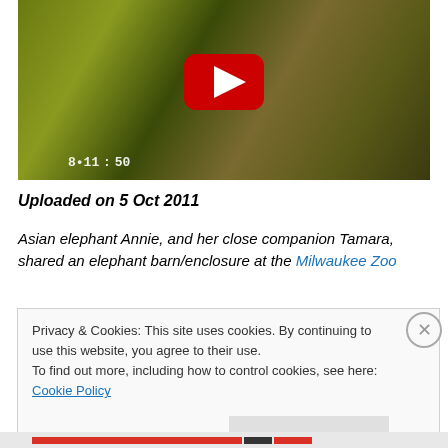[Figure (screenshot): YouTube video thumbnail showing an elephant in a zoo enclosure with yellowish-green tint, with a red YouTube play button in the center and a timestamp visible at the bottom left reading approximately 8:11:50]
Uploaded on 5 Oct 2011
Asian elephant Annie, and her close companion Tamara, shared an elephant barn/enclosure at the Milwaukee Zoo
Privacy & Cookies: This site uses cookies. By continuing to use this website, you agree to their use.
To find out more, including how to control cookies, see here: Cookie Policy
Close and accept